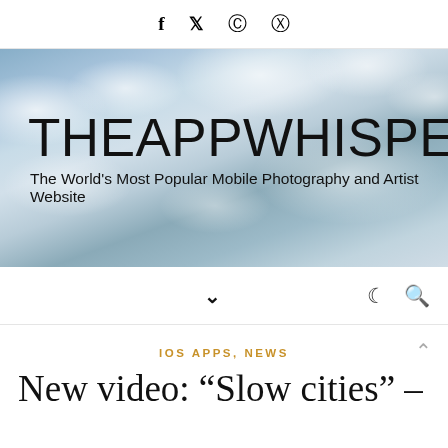f  𝕏  ⊙  ⊕
[Figure (photo): Sky banner with clouds and THEAPPWHISPERER website logo. Large bold text reads THEAPPWHISPERER. Subtitle: The World's Most Popular Mobile Photography and Artist Website.]
Navigation bar with chevron down, moon/dark mode icon, and search icon
IOS APPS, NEWS
New video: “Slow cities” –